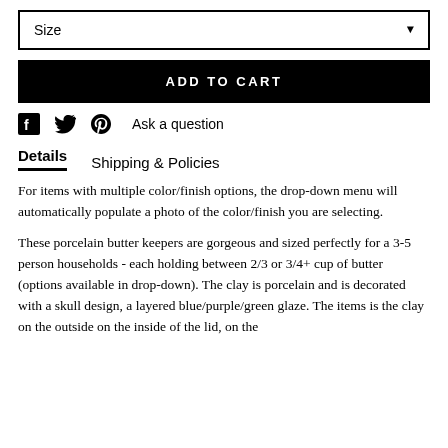Size
ADD TO CART
Ask a question
Details   Shipping & Policies
For items with multiple color/finish options, the drop-down menu will automatically populate a photo of the color/finish you are selecting.
These porcelain butter keepers are gorgeous and sized perfectly for a 3-5 person households - each holding between 2/3 or 3/4+ cup of butter (options available in drop-down). The clay is porcelain and is decorated with a skull design, a layered blue/purple/green glaze. The items is the clay on the outside on the inside of the lid, on the...